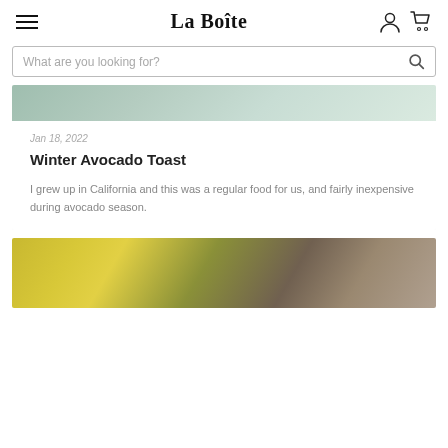La Boîte
What are you looking for?
[Figure (photo): Partial top of food photo, cropped at top of card]
Jan 18, 2022
Winter Avocado Toast
I grew up in California and this was a regular food for us, and fairly inexpensive during avocado season.
[Figure (photo): Bottom food photo showing olive oil in bowl, bread/toast with toppings, partially cropped]